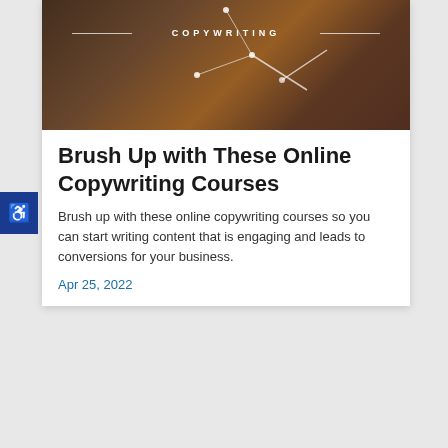[Figure (photo): Hero image of a woman in a yellow sweater working on a laptop with earphones, overlaid with geometric lines and dots on a dark background, with the word COPYWRITING in white lettertracked text across the center]
Brush Up with These Online Copywriting Courses
Brush up with these online copywriting courses so you can start writing content that is engaging and leads to conversions for your business.
Apr 25, 2022